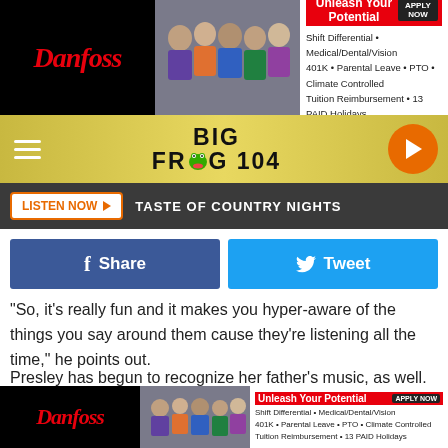[Figure (screenshot): Danfoss advertisement banner at top: Unleash Your Potential with benefits listed]
[Figure (logo): Big Frog 104 radio station logo in yellow/gold navigation bar]
LISTEN NOW ▶  TASTE OF COUNTRY NIGHTS
[Figure (screenshot): Facebook Share and Twitter Tweet social sharing buttons]
"So, it's really fun and it makes you hyper-aware of the things you say around them cause they're listening all the time," he points out.
Presley has begun to recognize her father's music, as well. Recently, Taylor recorded a video of their daughter listening to "daddy" in the car. Young shared the heart-melting clip on social media.
[Figure (screenshot): Danfoss advertisement banner at bottom: Unleash Your Potential with benefits listed]